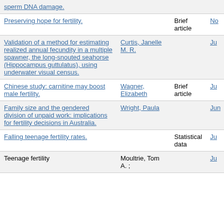| Title | Author | Type | Date |
| --- | --- | --- | --- |
| sperm DNA damage. |  |  |  |
| Preserving hope for fertility. |  | Brief article | Nov |
| Validation of a method for estimating realized annual fecundity in a multiple spawner, the long-snouted seahorse (Hippocampus guttulatus), using underwater visual census. | Curtis, Janelle M. R. |  | Ju |
| Chinese study: carnitine may boost male fertility. | Wagner, Elizabeth | Brief article | Ju |
| Family size and the gendered division of unpaid work: implications for fertility decisions in Australia. | Wright, Paula |  | Jun |
| Falling teenage fertility rates. |  | Statistical data | Ju |
| Teenage fertility... | Moultrie, Tom A. |  | Ju |